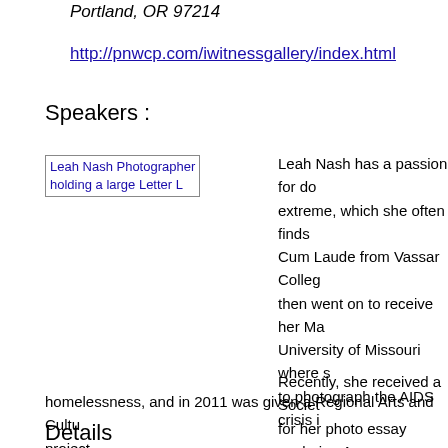Portland, OR 97214
http://pnwcp.com/iwitnessgallery/index.html
Speakers :
[Figure (photo): Leah Nash Photographer holding a large Letter L]
Leah Nash has a passion for do... extreme, which she often finds... Cum Laude from Vassar Colleg... then went on to receive her Ma... University of Missouri where s... to photograph the AIDS crisis i...
Recently, she received a Societ... for her photo essay exploring A... homelessness, and in 2011 was given a Regional Arts and Cultu... project.
Details